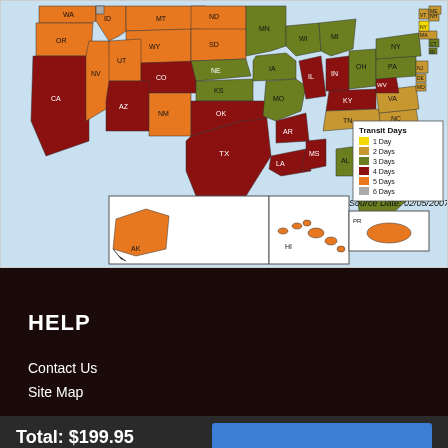[Figure (map): USPS shipping transit days map of the United States showing transit times by state in different colors. Legend shows: 1 Day (yellow), 2 Days (dark orange/tan), 3 Days (olive green), 4 Days (dark red), 5 Days (orange), 6 Days (gray). Insets for Alaska (AK), Hawaii (HI), and Puerto Rico (PR). Source Date: 02/05/2007.]
HELP
Contact Us
Site Map
Total: $199.95